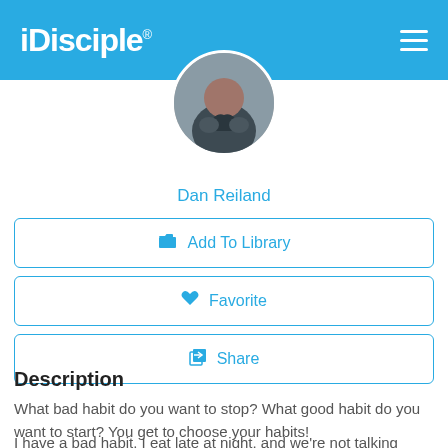iDisciple
[Figure (photo): Circular cropped profile photo of Dan Reiland, a person in a dark jacket]
Dan Reiland
Add To Library
Favorite
Share
Description
What bad habit do you want to stop? What good habit do you want to start? You get to choose your habits!
I have a bad habit. I eat late at night, and we're not talking